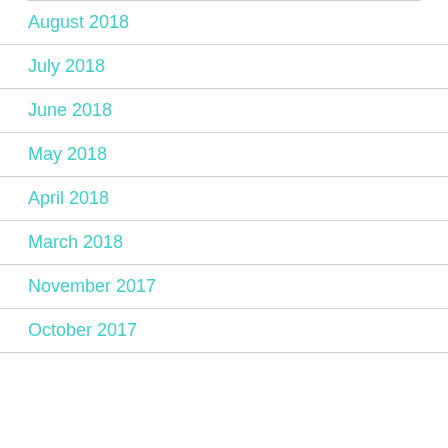August 2018
July 2018
June 2018
May 2018
April 2018
March 2018
November 2017
October 2017